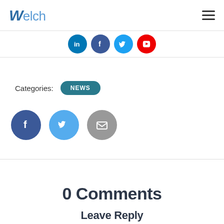Welch
[Figure (infographic): Social media icons row: LinkedIn (blue circle), Facebook (blue circle), Twitter (blue circle), YouTube (red circle)]
Categories: NEWS
[Figure (infographic): Share icons: Facebook (dark blue circle with f), Twitter (light blue circle with bird), Email (grey circle with envelope)]
0 Comments
Leave Reply